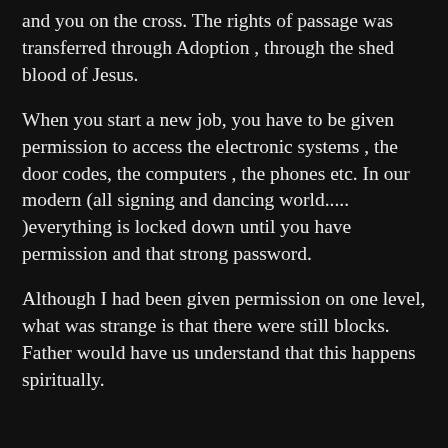and you on the cross. The rights of passage was transferred through Adoption , through the shed blood of Jesus.
When you start a new job, you have to be given permission to access the electronic systems , the door codes, the computers , the phones etc. In our modern (all signing and dancing world..... )everything is locked down until you have permission and that strong password.
Although I had been given permission on one level, what was strange is that there were still blocks. Father would have us understand that this happens spiritually.